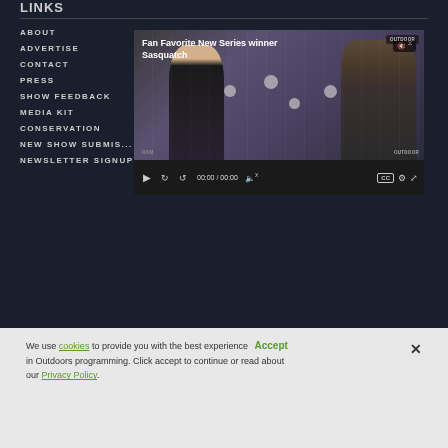LINKS
ABOUT
ADVERTISE
CONTACT
PRESS
SHOW FEEDBACK
MEDIA KIT
CONSERVATION
NEW SHOW SUBMIS...
NEWSLETTER SIGNUP
[Figure (screenshot): Video player showing 'Fan Favorite New Series winner Sasquatch' with two people being interviewed at what appears to be an awards event with Outdoor Channel branding. Video controls show 00:00 / 00:00 timecode.]
We use cookies to provide you with the best experience Accept in Outdoors programming. Click accept to continue or read about our Privacy Policy.